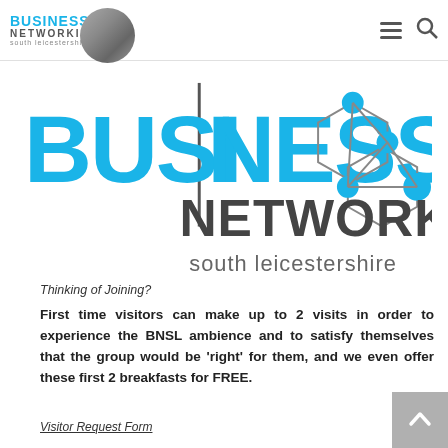BUSINESS NETWORKING south leicestershire
[Figure (logo): Business Networking South Leicestershire large logo with cyan BUSINESS text, dark NETWORKING text, south leicestershire tagline, and hexagonal network graphic]
Thinking of Joining?
First time visitors can make up to 2 visits in order to experience the BNSL ambience and to satisfy themselves that the group would be 'right' for them, and we even offer these first 2 breakfasts for FREE.
Visitor Request Form